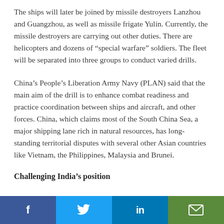The ships will later be joined by missile destroyers Lanzhou and Guangzhou, as well as missile frigate Yulin. Currently, the missile destroyers are carrying out other duties. There are helicopters and dozens of “special warfare” soldiers. The fleet will be separated into three groups to conduct varied drills.
China’s People’s Liberation Army Navy (PLAN) said that the main aim of the drill is to enhance combat readiness and practice coordination between ships and aircraft, and other forces. China, which claims most of the South China Sea, a major shipping lane rich in natural resources, has long-standing territorial disputes with several other Asian countries like Vietnam, the Philippines, Malaysia and Brunei.
Challenging India’s position
[Figure (other): Social media sharing bar with Facebook, Twitter, LinkedIn, and email icons]